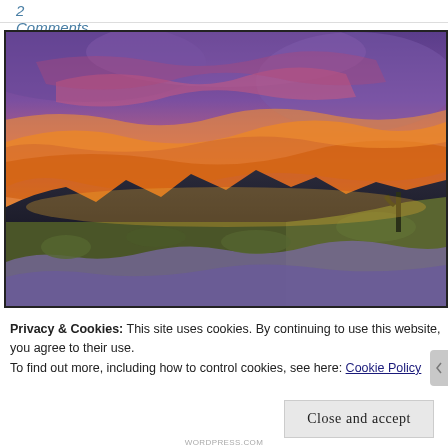2 Comments
[Figure (photo): Desert sunset landscape with vivid orange, pink, and purple clouds over silhouetted mountains and desert scrub with purple wildflowers in the foreground]
Privacy & Cookies: This site uses cookies. By continuing to use this website, you agree to their use.
To find out more, including how to control cookies, see here: Cookie Policy
Close and accept